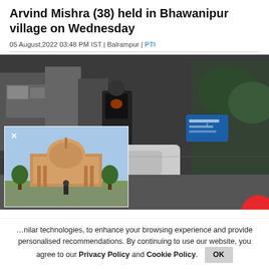Arvind Mishra (38) held in Bhawanipur village on Wednesday
05 August,2022 03:48 PM IST | Balrampur | PTI
[Figure (photo): Main photo showing a busy street scene with a delivery person carrying a bag, overlaid with a smaller inset photo of what appears to be the Supreme Court of India building with a dome and green trees]
...nilar technologies, to enhance your browsing experience and provide personalised recommendations. By continuing to use our website, you agree to our Privacy Policy and Cookie Policy. OK